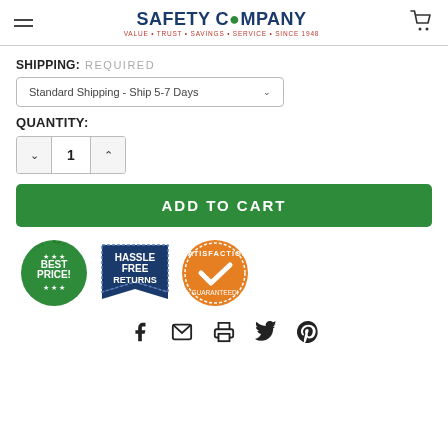SafetyCompany — VALUE • TRUST • SAVINGS • SERVICE • SINCE 1948
SHIPPING: REQUIRED
Standard Shipping - Ship 5-7 Days
QUANTITY:
1
ADD TO CART
[Figure (illustration): Three trust badges: green 'BEST PRICE!' seal, dark blue 'HASSLE FREE RETURNS' banner, and orange 'SATISFACTION GUARANTEED!' seal with checkmark]
[Figure (illustration): Social sharing icons: Facebook, email/envelope, print, Twitter, Pinterest]